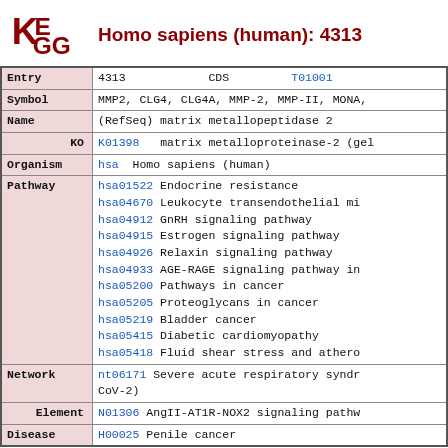Homo sapiens (human): 4313
| Field | Value |
| --- | --- |
| Entry | 4313   CDS   T01001 |
| Symbol | MMP2, CLG4, CLG4A, MMP-2, MMP-II, MONA, |
| Name | (RefSeq) matrix metallopeptidase 2 |
| KO | K01398   matrix metalloproteinase-2 (gel |
| Organism | hsa   Homo sapiens (human) |
| Pathway | hsa01522   Endocrine resistance
hsa04670   Leukocyte transendothelial mi
hsa04912   GnRH signaling pathway
hsa04915   Estrogen signaling pathway
hsa04926   Relaxin signaling pathway
hsa04933   AGE-RAGE signaling pathway in
hsa05200   Pathways in cancer
hsa05205   Proteoglycans in cancer
hsa05219   Bladder cancer
hsa05415   Diabetic cardiomyopathy
hsa05418   Fluid shear stress and athero |
| Network | nt06171   Severe acute respiratory syndr CoV-2) |
| Element | N01306   AngII-AT1R-NOX2 signaling pathw |
| Disease | H00025   Penile cancer |